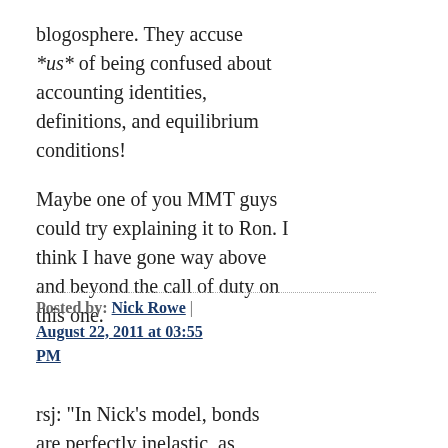blogosphere. They accuse *us* of being confused about accounting identities, definitions, and equilibrium conditions!
Maybe one of you MMT guys could try explaining it to Ron. I think I have gone way above and beyond the call of duty on this one.
Posted by: Nick Rowe | August 22, 2011 at 03:55 PM
rsj: "In Nick's model, bonds are perfectly inelastic, as households can never own more than 0 bonds, and banks will never sell *any* bonds to